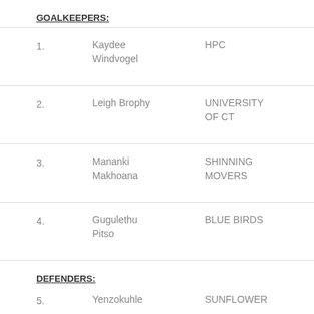GOALKEEPERS:
1. Kaydee Windvogel — HPC
2. Leigh Brophy — UNIVERSITY OF CT
3. Mananki Makhoana — SHINNING MOVERS
4. Gugulethu Pitso — BLUE BIRDS
DEFENDERS:
5. Yenzokuhle — SUNFLOWER